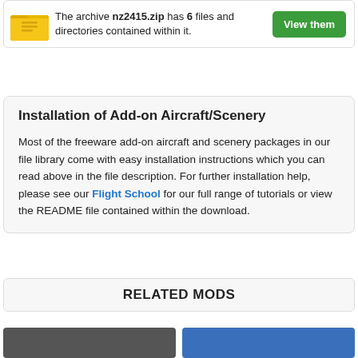The archive nz2415.zip has 6 files and directories contained within it.
Installation of Add-on Aircraft/Scenery
Most of the freeware add-on aircraft and scenery packages in our file library come with easy installation instructions which you can read above in the file description. For further installation help, please see our Flight School for our full range of tutorials or view the README file contained within the download.
RELATED MODS
[Figure (photo): Thumbnail image dark/grey tones]
[Figure (photo): Thumbnail image blue tones]